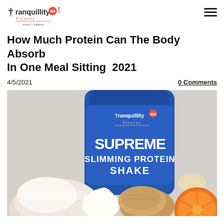Tranquillity 360 Fitness — make it happen.
How Much Protein Can The Body Absorb In One Meal Sitting  2021
4/5/2021
0 Comments
[Figure (photo): Photo of a Tranquillity 360 Fitness Supreme Slimming Protein Shake container (blue bottle) surrounded by food items including a powdered pastry, whipped cream, biscuits/scones, and a halved orange.]